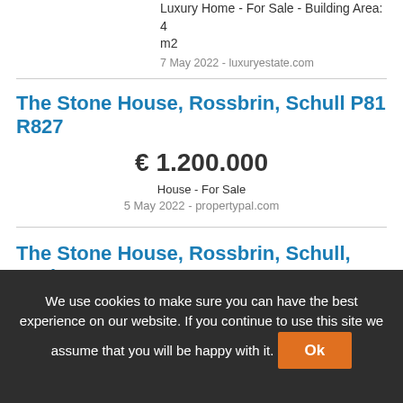Luxury Home - For Sale - Building Area: 4 m2
7 May 2022 - luxuryestate.com
The Stone House, Rossbrin, Schull P81 R827
€ 1.200.000
House - For Sale
5 May 2022 - propertypal.com
The Stone House, Rossbrin, Schull, Cork
€ 1.200.000
We use cookies to make sure you can have the best experience on our website. If you continue to use this site we assume that you will be happy with it.